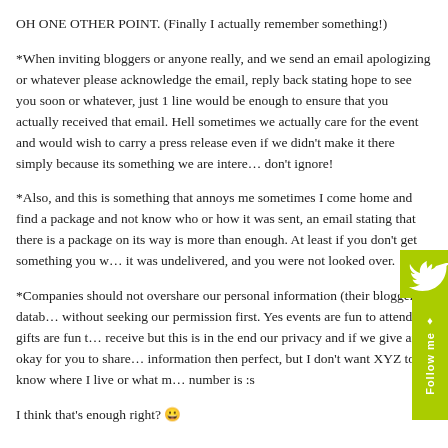OH ONE OTHER POINT. (Finally I actually remember something!)
*When inviting bloggers or anyone really, and we send an email apologizing or whatever please acknowledge the email, reply back stating hope to see you soon or whatever, just 1 line would be enough to ensure that you actually received that email. Hell sometimes we actually care for the event and would wish to carry a press release even if we didn't make it there simply because its something we are interested in. Just don't ignore!
*Also, and this is something that annoys me sometimes I come home and find a package and not know who or how it was sent, an email stating that there is a package on its way is more than enough. At least if you don't get something you will know that it was undelivered, and you were not looked over.
*Companies should not overshare our personal information (their blogger database) without seeking our permission first. Yes events are fun to attend, gifts are fun to receive but this is in the end our privacy and if we give an okay for you to share our information then perfect, but I don't want XYZ to know where I live or what my phone number is :s
I think that's enough right? 😀